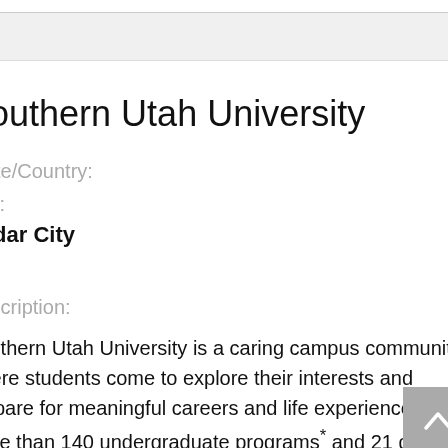Southern Utah University
State/Country:
City:
Cedar City
UT
Description:
Southern Utah University is a caring campus community where students come to explore their interests and prepare for meaningful careers and life experiences. With more than 140 undergraduate programs* and 21 graduate and certificate programs across seven academic colleges,